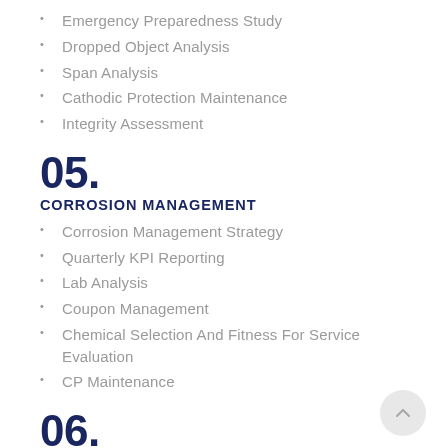Emergency Preparedness Study
Dropped Object Analysis
Span Analysis
Cathodic Protection Maintenance
Integrity Assessment
05.
CORROSION MANAGEMENT
Corrosion Management Strategy
Quarterly KPI Reporting
Lab Analysis
Coupon Management
Chemical Selection And Fitness For Service Evaluation
CP Maintenance
06.
STRUCTURAL INTEGRITY MANAGEMENT
Structural Integrity
Strategy Structural Modelling & Assessment Using SESAM Software